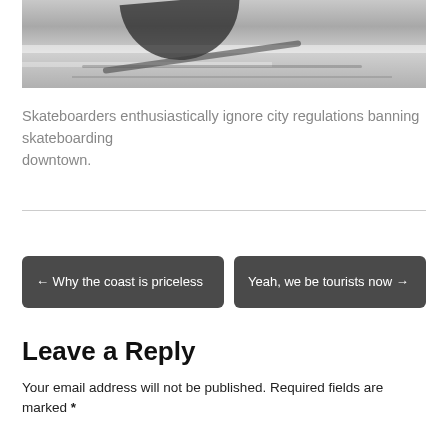[Figure (photo): Skateboarder performing a trick over what appears to be a crosswalk or paved surface, viewed from above, with shadow and road markings visible.]
Skateboarders enthusiastically ignore city regulations banning skateboarding downtown.
← Why the coast is priceless
Yeah, we be tourists now →
Leave a Reply
Your email address will not be published. Required fields are marked *